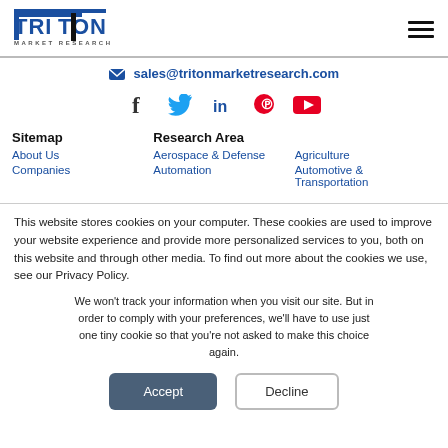[Figure (logo): Triton Market Research logo with T-shaped mark and hamburger menu icon]
sales@tritonmarketresearch.com
[Figure (infographic): Social media icons: Facebook, Twitter, LinkedIn, Pinterest, YouTube]
Sitemap
Research Area
About Us
Aerospace & Defense
Agriculture
Companies
Automation
Automotive & Transportation
This website stores cookies on your computer. These cookies are used to improve your website experience and provide more personalized services to you, both on this website and through other media. To find out more about the cookies we use, see our Privacy Policy.
We won't track your information when you visit our site. But in order to comply with your preferences, we'll have to use just one tiny cookie so that you're not asked to make this choice again.